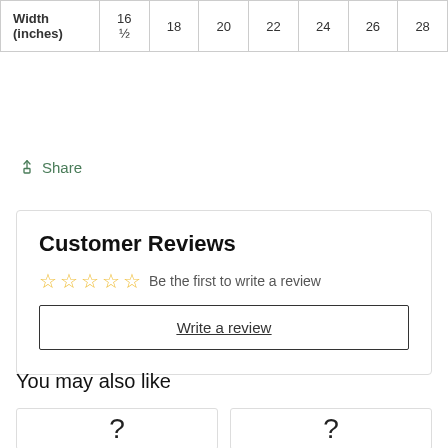| Width (inches) | 16 ½ | 18 | 20 | 22 | 24 | 26 | 28 |
| --- | --- | --- | --- | --- | --- | --- | --- |
Share
Customer Reviews
Be the first to write a review
Write a review
You may also like